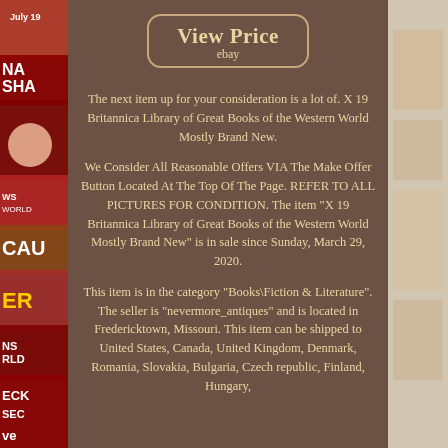[Figure (screenshot): View Price eBay button with rounded rectangle border in gold/tan on brown background]
The next item up for your consideration is a lot of. X 19 Britannica Library of Great Books of the Western World Mostly Brand New.
We Consider All Reasonable Offers VIA The Make Offer Button Located At The Top Of The Page. REFER TO ALL PICTURES FOR CONDITION. The item "X 19 Britannica Library of Great Books of the Western World Mostly Brand New" is in sale since Sunday, March 29, 2020.
This item is in the category "Books\Fiction & Literature". The seller is "nevermore_antiques" and is located in Fredericktown, Missouri. This item can be shipped to United States, Canada, United Kingdom, Denmark, Romania, Slovakia, Bulgaria, Czech republic, Finland, Hungary,